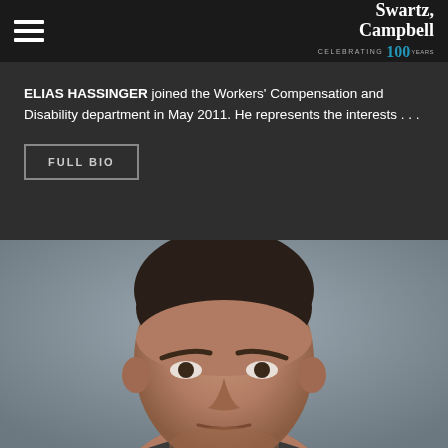Swartz Campbell — Celebrating 100 Years
ELIAS HASSINGER joined the Workers' Compensation and Disability department in May 2011. He represents the interests . . .
FULL BIO
[Figure (photo): Headshot photo of Elias Hassinger, a middle-aged man with dark hair, against a grey background. The photo is cropped to show only the upper portion of the face/head area.]